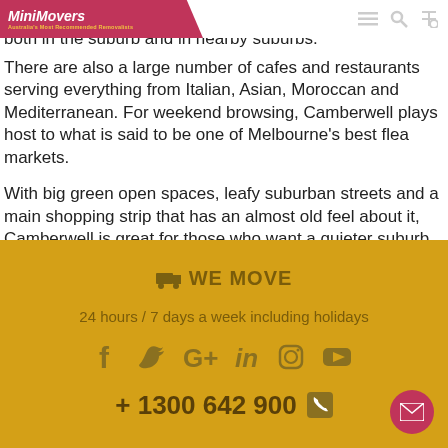MiniMovers — Australia's Most Recommended Removalists
centres, churches and a decent amount of sporting groups both in the suburb and in nearby suburbs. There are also a large number of cafes and restaurants serving everything from Italian, Asian, Moroccan and Mediterranean. For weekend browsing, Camberwell plays host to what is said to be one of Melbourne's best flea markets.
With big green open spaces, leafy suburban streets and a main shopping strip that has an almost old feel about it, Camberwell is great for those who want a quieter suburb to live in.
WE MOVE 24 hours / 7 days a week including holidays + 1300 642 900